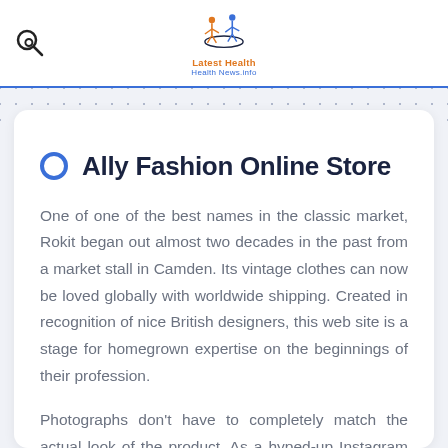[Figure (logo): Latest Health Health News Info logo with colorful figure and text]
Ally Fashion Online Store
One of one of the best names in the classic market, Rokit began out almost two decades in the past from a market stall in Camden. Its vintage clothes can now be loved globally with worldwide shipping. Created in recognition of nice British designers, this web site is a stage for homegrown expertise on the beginnings of their profession.
Photographs don't have to completely match the actual look of the product. As a hyped-up Instagram explore